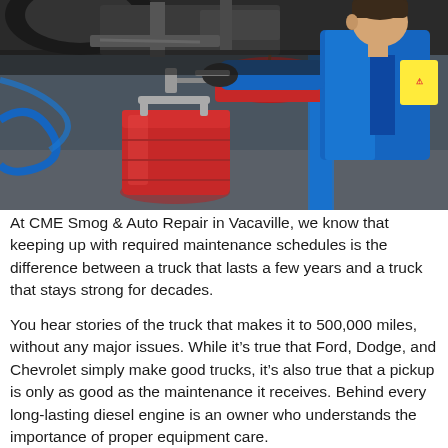[Figure (photo): A mechanic in a blue uniform draining oil from a vehicle raised on a lift, with a red oil drain container and red oil catch pan visible in the foreground in an auto repair shop.]
At CME Smog & Auto Repair in Vacaville, we know that keeping up with required maintenance schedules is the difference between a truck that lasts a few years and a truck that stays strong for decades.
You hear stories of the truck that makes it to 500,000 miles, without any major issues. While it's true that Ford, Dodge, and Chevrolet simply make good trucks, it's also true that a pickup is only as good as the maintenance it receives. Behind every long-lasting diesel engine is an owner who understands the importance of proper equipment care.